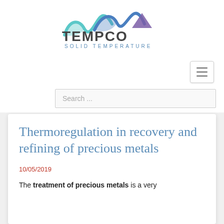[Figure (logo): TEMPCO Solid Temperature logo with wave/mountain graphic in blue/purple tones above the text TEMPCO in dark gray and SOLID TEMPERATURE in blue-gray below]
Thermoregulation in recovery and refining of precious metals
10/05/2019
The treatment of precious metals is a very